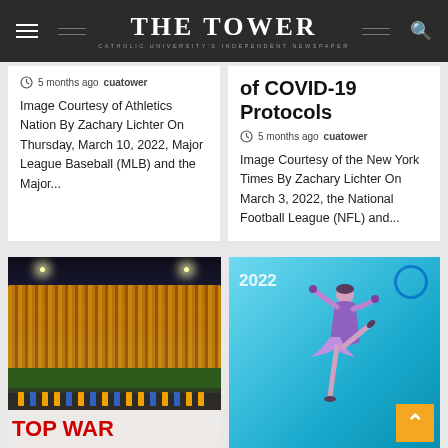THE TOWER — Catholic University's Independent Newspaper
5 months ago  cuatower
Image Courtesy of Athletics Nation By Zachary Lichter On Thursday, March 10, 2022, Major League Baseball (MLB) and the Major...
of COVID-19 Protocols
5 months ago  cuatower
Image Courtesy of the New York Times By Zachary Lichter On March 3, 2022, the National Football League (NFL) and...
[Figure (photo): Stadium at night with crowd, team posing with banner reading TOP WAR in red]
[Figure (photo): Figure skater in purple dress performing at 2022 Beijing Olympics]